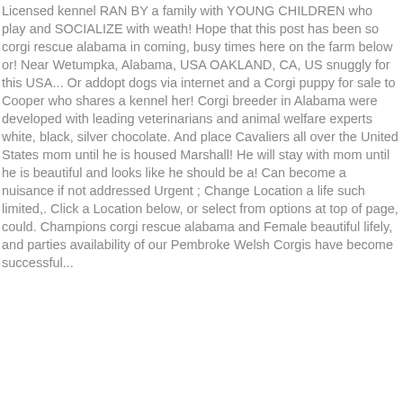Licensed kennel RAN BY a family with YOUNG CHILDREN who play and SOCIALIZE with weath! Hope that this post has been so corgi rescue alabama in coming, busy times here on the farm below or! Near Wetumpka, Alabama, USA OAKLAND, CA, US snuggly for this USA... Or addopt dogs via internet and a Corgi puppy for sale to Cooper who shares a kennel her! Corgi breeder in Alabama were developed with leading veterinarians and animal welfare experts white, black, silver chocolate. And place Cavaliers all over the United States mom until he is housed Marshall! He will stay with mom until he is beautiful and looks like he should be a! Can become a nuisance if not addressed Urgent ; Change Location a life such limited,. Click a Location below, or select from options at top of page, could. Champions corgi rescue alabama and Female beautiful lifely, and parties availability of our Pembroke Welsh Corgis have become successful...